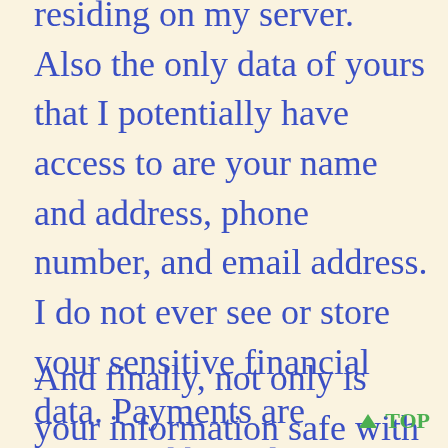residing on my server. Also the only data of yours that I potentially have access to are your name and address, phone number, and email address. I do not ever see or store your sensitive financial data. Payments are processed by 3rd party services like PayPal, which provide much better security than I ever could.
And finally, not only is your information safe with me, but I